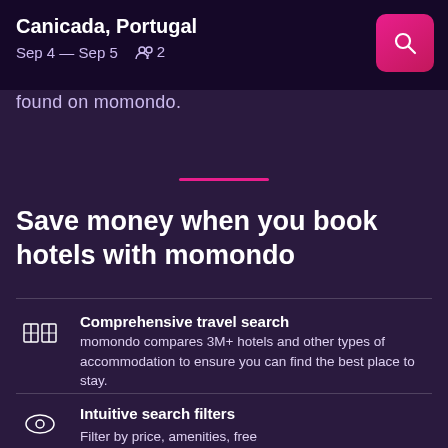Canicada, Portugal
Sep 4 — Sep 5  2
found on momondo.
Save money when you book hotels with momondo
Comprehensive travel search
momondo compares 3M+ hotels and other types of accommodation to ensure you can find the best place to stay.
Intuitive search filters
Filter by price, amenities, free